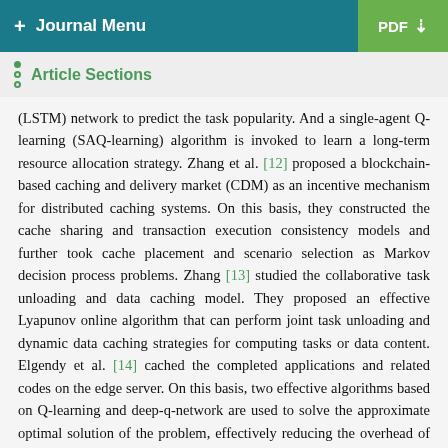+ Journal Menu | PDF ↓
Article Sections
(LSTM) network to predict the task popularity. And a single-agent Q-learning (SAQ-learning) algorithm is invoked to learn a long-term resource allocation strategy. Zhang et al. [12] proposed a blockchain-based caching and delivery market (CDM) as an incentive mechanism for distributed caching systems. On this basis, they constructed the cache sharing and transaction execution consistency models and further took cache placement and scenario selection as Markov decision process problems. Zhang [13] studied the collaborative task unloading and data caching model. They proposed an effective Lyapunov online algorithm that can perform joint task unloading and dynamic data caching strategies for computing tasks or data content. Elgendy et al. [14] cached the completed applications and related codes on the edge server. On this basis, two effective algorithms based on Q-learning and deep-q-network are used to solve the approximate optimal solution of the problem, effectively reducing the overhead of mobile devices. Peng [15] designed an intelligent federated caching and offload strategy